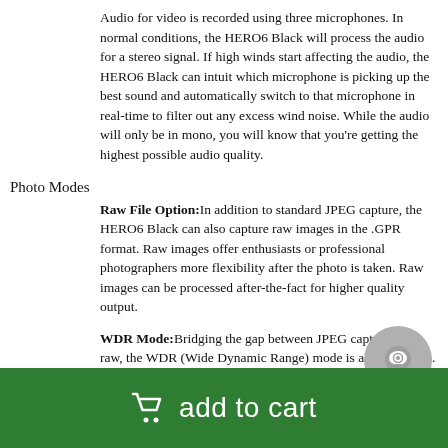Audio for video is recorded using three microphones. In normal conditions, the HERO6 Black will process the audio for a stereo signal. If high winds start affecting the audio, the HERO6 Black can intuit which microphone is picking up the best sound and automatically switch to that microphone in real-time to filter out any excess wind noise. While the audio will only be in mono, you will know that you're getting the highest possible audio quality.
Photo Modes
Raw File Option: In addition to standard JPEG capture, the HERO6 Black can also capture raw images in the .GPR format. Raw images offer enthusiasts or professional photographers more flexibility after the photo is taken. Raw images can be processed after-the-fact for higher quality output.
WDR Mode: Bridging the gap between JPEG capture and raw, the WDR (Wide Dynamic Range) mode is also available. If the scene has dark shadows and bright highlights, WDR mode will retain better detail in those areas.
Burst Mode: Bursts of photos can be taken during high-action sequences to ensure that you capture the moment. The camera's buffer fits up to 30 photos for a minimal shutter...
add to cart